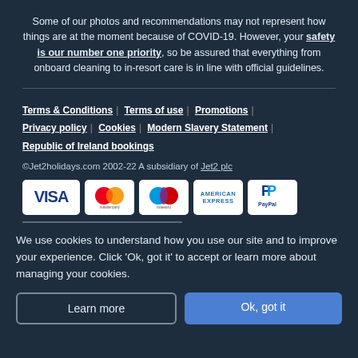Some of our photos and recommendations may not represent how things are at the moment because of COVID-19. However, your safety is our number one priority, so be assured that everything from onboard cleaning to in-resort care is in line with official guidelines.
Terms & Conditions | Terms of use | Promotions | Privacy policy | Cookies | Modern Slavery Statement | Republic of Ireland bookings
©Jet2holidays.com 2002-22 A subsidiary of Jet2 plc
[Figure (other): Payment method logos: VISA, Mastercard, Maestro, American Express, PayPal]
We use cookies to understand how you use our site and to improve your experience. Click 'Ok, got it' to accept or learn more about managing your cookies.
Learn more | Ok, got it